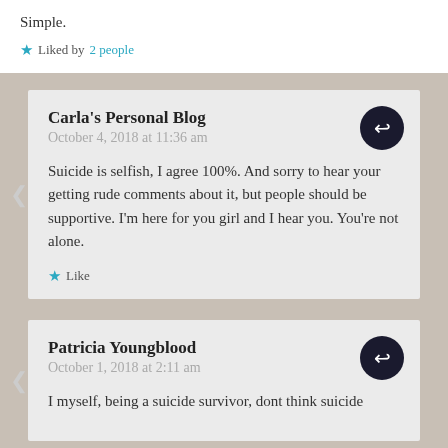Simple.
★ Liked by 2 people
Carla's Personal Blog
October 4, 2018 at 11:36 am

Suicide is selfish, I agree 100%. And sorry to hear your getting rude comments about it, but people should be supportive. I'm here for you girl and I hear you. You're not alone.

★ Like
Patricia Youngblood
October 1, 2018 at 2:11 am

I myself, being a suicide survivor, dont think suicide